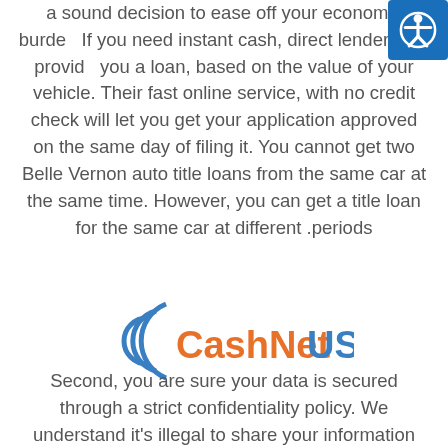a sound decision to ease off your economic burden. If you need instant cash, direct lenders will provide you a loan, based on the value of your vehicle. Their fast online service, with no credit check will let you get your application approved on the same day of filing it. You cannot get two Belle Vernon auto title loans from the same car at the same time. However, you can get a title loan for the same car at different periods.
[Figure (logo): CashNetUSA logo with blue arc/swirl on the left and orange 'CashNet' text followed by blue 'USA' text]
Second, you are sure your data is secured through a strict confidentiality policy. We understand it's illegal to share your information with a third party.